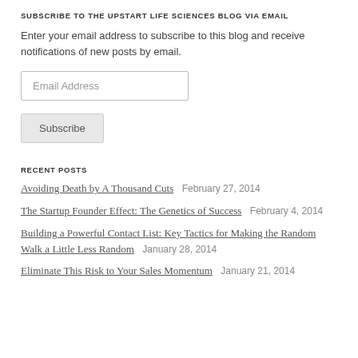SUBSCRIBE TO THE UPSTART LIFE SCIENCES BLOG VIA EMAIL
Enter your email address to subscribe to this blog and receive notifications of new posts by email.
RECENT POSTS
Avoiding Death by A Thousand Cuts  February 27, 2014
The Startup Founder Effect: The Genetics of Success  February 4, 2014
Building a Powerful Contact List: Key Tactics for Making the Random Walk a Little Less Random  January 28, 2014
Eliminate This Risk to Your Sales Momentum  January 21, 2014